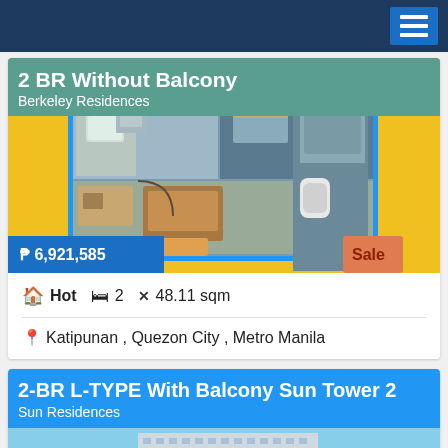Navigation header with menu button
2 BR Without Balcony
Berkeley Residences
[Figure (illustration): Floor plan rendering of 2BR without balcony unit showing rooms in top-down view with yellow border background. Price badge showing P 6,921,585 and Sale tag.]
Hot  2  48.11 sqm
Katipunan , Quezon City , Metro Manila
2-BR L-TYPE With Balcony Sun Tower 2
Sun Residences